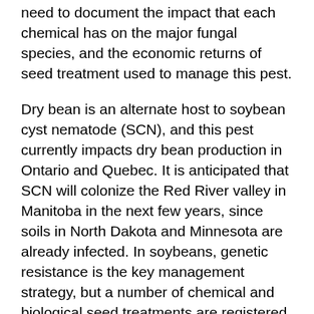need to document the impact that each chemical has on the major fungal species, and the economic returns of seed treatment used to manage this pest.
Dry bean is an alternate host to soybean cyst nematode (SCN), and this pest currently impacts dry bean production in Ontario and Quebec. It is anticipated that SCN will colonize the Red River valley in Manitoba in the next few years, since soils in North Dakota and Minnesota are already infected. In soybeans, genetic resistance is the key management strategy, but a number of chemical and biological seed treatments are registered for use. Little is known about genetic resistance in dry beans, so this program has focused on evaluating seed treatments as a stop gap effort to manage this pest. Western bean cutworm (WBC) is a very recent pest that has become